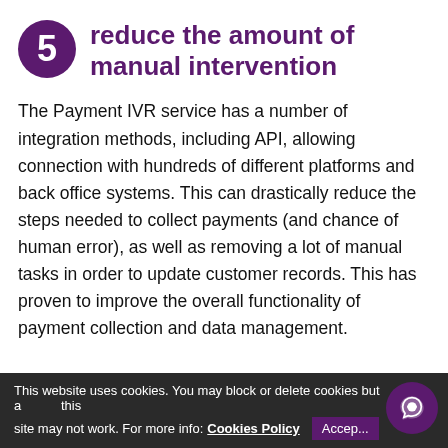5 reduce the amount of manual intervention
The Payment IVR service has a number of integration methods, including API, allowing connection with hundreds of different platforms and back office systems. This can drastically reduce the steps needed to collect payments (and chance of human error), as well as removing a lot of manual tasks in order to update customer records. This has proven to improve the overall functionality of payment collection and data management.
This website uses cookies. You may block or delete cookies but affect this site may not work. For more info: Cookies Policy  Accept